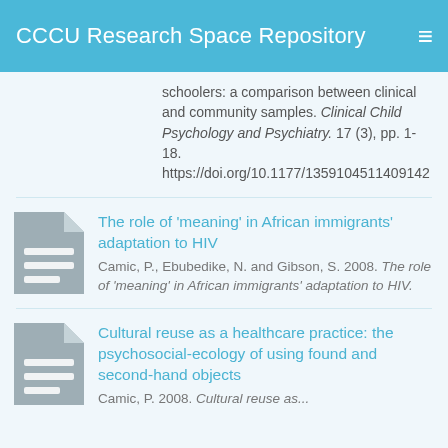CCCU Research Space Repository
schoolers: a comparison between clinical and community samples. Clinical Child Psychology and Psychiatry. 17 (3), pp. 1-18. https://doi.org/10.1177/1359104511409142
The role of 'meaning' in African immigrants' adaptation to HIV
Camic, P., Ebubedike, N. and Gibson, S. 2008. The role of 'meaning' in African immigrants' adaptation to HIV.
Cultural reuse as a healthcare practice: the psychosocial-ecology of using found and second-hand objects
Camic, P. 2008. Cultural reuse as...